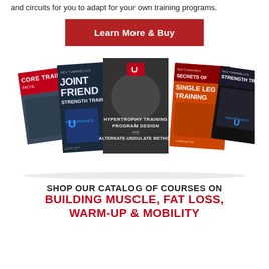and circuits for you to adapt for your own training programs.
Learn More & Buy
[Figure (photo): A collage of five fitness training course covers including Core Training, Joint Friendly Strength Training, Hypertrophy Training Program Design Alternate-Undulate Method, Secrets of Single Leg Training, and Strength Training (Nick Tumminello's). Published by Performance U.]
SHOP OUR CATALOG OF COURSES ON BUILDING MUSCLE, FAT LOSS, WARM-UP & MOBILITY